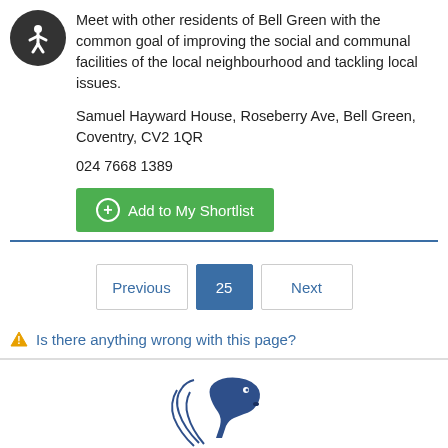Meet with other residents of Bell Green with the common goal of improving the social and communal facilities of the local neighbourhood and tackling local issues.
Samuel Hayward House, Roseberry Ave, Bell Green, Coventry, CV2 1QR
024 7668 1389
Add to My Shortlist
Previous  25  Next
Is there anything wrong with this page?
[Figure (logo): Coventry City Council horse logo, partial view at bottom of page]